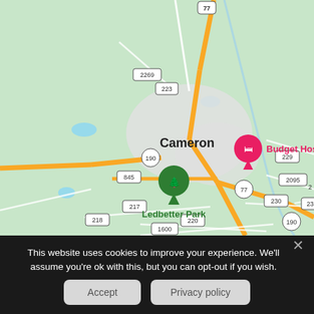[Figure (map): Google Maps view of Cameron, TX showing roads including Route 77, 190, 223, 845, 218, 220, 1600, 2269, 229, 230, 238, 2095, 217. Shows Ledbetter Park marker (green tree pin) and Budget Host Inn & S marker (pink hotel pin). The town of Cameron is labeled. Roads are shown in yellow/gold on a light green background.]
This website uses cookies to improve your experience. We'll assume you're ok with this, but you can opt-out if you wish.